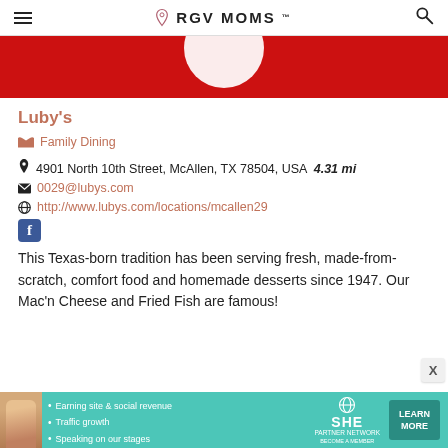RGV MOMS
[Figure (photo): Red background with partial white circle, top portion of a restaurant listing image]
Luby's
Family Dining
4901 North 10th Street, McAllen, TX 78504, USA  4.31 mi
0029@lubys.com
http://www.lubys.com/locations/mcallen29
[Figure (logo): Facebook logo icon (blue square with white f)]
This Texas-born tradition has been serving fresh, made-from-scratch, comfort food and homemade desserts since 1947. Our Mac'n Cheese and Fried Fish are famous!
[Figure (infographic): SHE Media Partner Network advertisement banner with woman photo, bullet points: Earning site & social revenue, Traffic growth, Speaking on our stages. LEARN MORE button.]